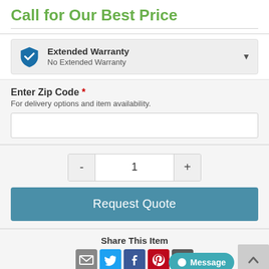Call for Our Best Price
Extended Warranty
No Extended Warranty
Enter Zip Code *
For delivery options and item availability.
- 1 +
Request Quote
Share This Item